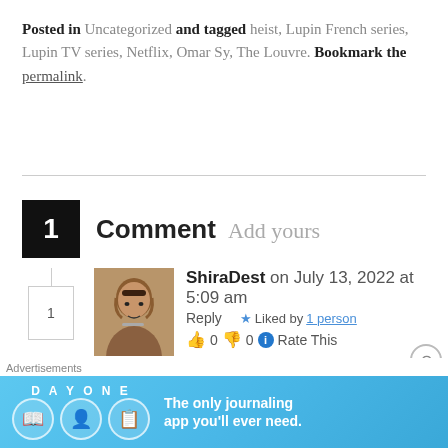Posted in Uncategorized and tagged heist, Lupin French series, Lupin TV series, Netflix, Omar Sy, The Louvre. Bookmark the permalink.
1 Comment Add yours
ShiraDest on July 13, 2022 at 5:09 am Reply Liked by 1 person 👍 0 👎 0 Rate This
[Figure (other): Advertisement banner for Day One journaling app]
Advertisements